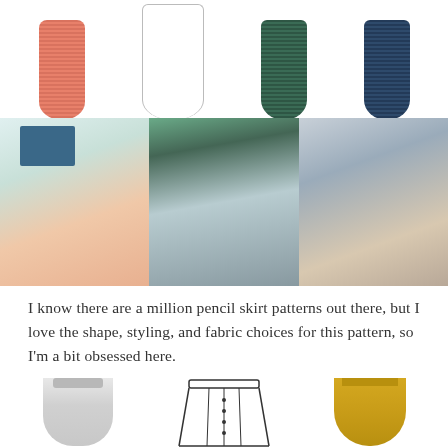[Figure (photo): Four fabric swatches at top: coral/salmon textured, white plain, dark green textured, navy blue textured]
[Figure (photo): Three fashion photos showing women wearing pencil skirts: left - woman in coral/peach outfit in modern interior, center - woman in gray pencil skirt with white shirt near pool, right - woman in navy patterned pencil skirt at beach]
I know there are a million pencil skirt patterns out there, but I love the shape, styling, and fabric choices for this pattern, so I'm a bit obsessed here.
[Figure (photo): Bottom row: white/gray pleated skirt, black line-art drawing of a gathered/pleated skirt pattern, and yellow/mustard pleated skirt with bow]